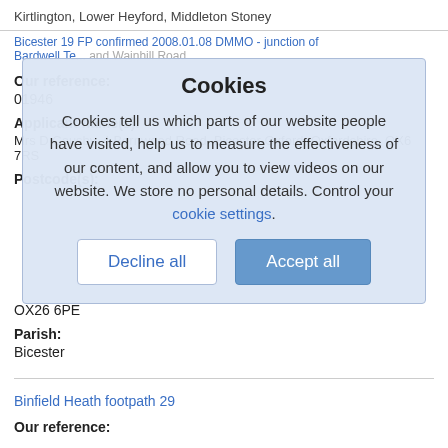Kirtlington, Lower Heyford, Middleton Stoney
Bicester 19 FP confirmed 2008.01.08 DMMO - junction of Bardwell Te... and Wainhill Road
Our reference:
01946
Applicant name(s):
Mrs D Causby, 4 Bernwood Road, Bicester Oxford, Oxfordshire, OX6 7RS
Postcode(s):
Cookies
Cookies tell us which parts of our website people have visited, help us to measure the effectiveness of our content, and allow you to view videos on our website. We store no personal details. Control your cookie settings.
OX26 6PE
Parish:
Bicester
Binfield Heath footpath 29
Our reference: